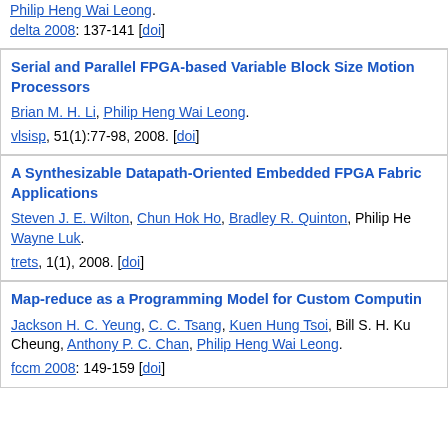Philip Heng Wai Leong.
delta 2008: 137-141 [doi]
Serial and Parallel FPGA-based Variable Block Size Motion Processors
Brian M. H. Li, Philip Heng Wai Leong.
vlsisp, 51(1):77-98, 2008. [doi]
A Synthesizable Datapath-Oriented Embedded FPGA Fabric for Applications
Steven J. E. Wilton, Chun Hok Ho, Bradley R. Quinton, Philip He... Wayne Luk.
trets, 1(1), 2008. [doi]
Map-reduce as a Programming Model for Custom Computing
Jackson H. C. Yeung, C. C. Tsang, Kuen Hung Tsoi, Bill S. H. Ku... Cheung, Anthony P. C. Chan, Philip Heng Wai Leong.
fccm 2008: 149-159 [doi]